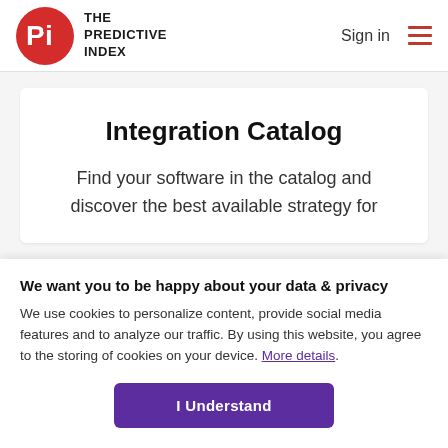THE PREDICTIVE INDEX | Sign in
Integration Catalog
Find your software in the catalog and discover the best available strategy for
We want you to be happy about your data & privacy
We use cookies to personalize content, provide social media features and to analyze our traffic. By using this website, you agree to the storing of cookies on your device. More details.
I Understand